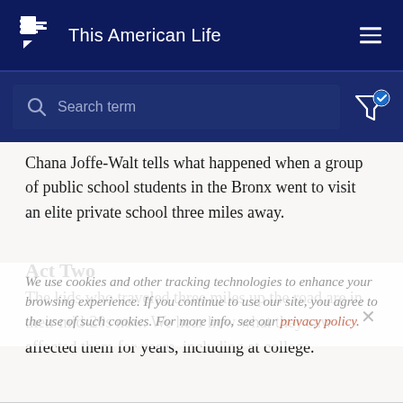This American Life
[Figure (screenshot): Search bar with placeholder text 'Search term' on dark navy background, with filter icon on the right]
Chana Joffe-Walt tells what happened when a group of public school students in the Bronx went to visit an elite private school three miles away.
Act Two
The kids who traveled three miles up the road are in their mid-20s now. We hear how what they saw affected them for years, including at college.
We use cookies and other tracking technologies to enhance your browsing experience. If you continue to use our site, you agree to the use of such cookies. For more info, see our privacy policy.